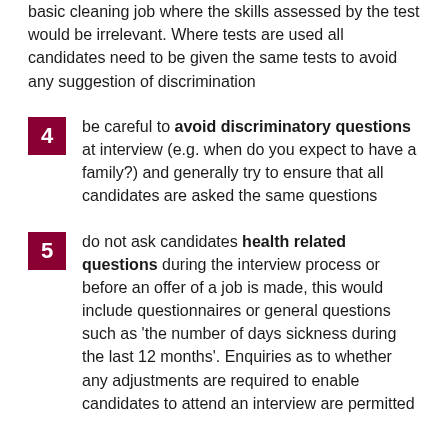basic cleaning job where the skills assessed by the test would be irrelevant. Where tests are used all candidates need to be given the same tests to avoid any suggestion of discrimination
be careful to avoid discriminatory questions at interview (e.g. when do you expect to have a family?) and generally try to ensure that all candidates are asked the same questions
do not ask candidates health related questions during the interview process or before an offer of a job is made, this would include questionnaires or general questions such as 'the number of days sickness during the last 12 months'. Enquiries as to whether any adjustments are required to enable candidates to attend an interview are permitted